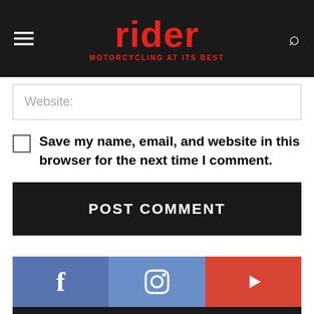rider — MOTORCYCLING AT ITS BEST
Website:
Save my name, email, and website in this browser for the next time I comment.
POST COMMENT
[Figure (infographic): Social media bar with Facebook (f icon, 299,682 Fans), Instagram (camera icon, 5,357 Followers), YouTube (play icon, 68,800 Subscribers)]
Privacy Preferences
I Agree